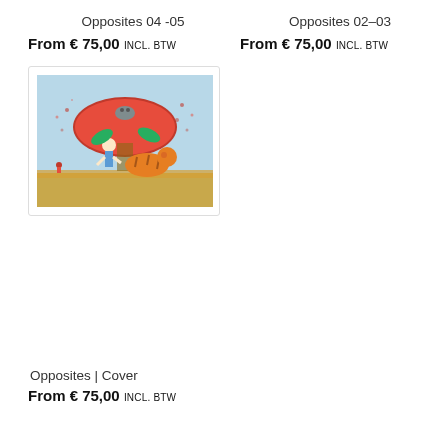Opposites 04 -05
From € 75,00 Incl. BTW
Opposites 02-03
From € 75,00 Incl. BTW
[Figure (illustration): Colorful children's book illustration showing whimsical characters under a large red mushroom or flower, with a tiger and small figures in a sunny landscape]
Opposites | Cover
From € 75,00 Incl. BTW